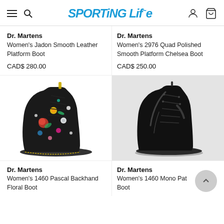Sporting Life — navigation header with hamburger menu, search, logo, account, cart
Dr. Martens
Women's Jadon Smooth Leather Platform Boot
CAD$ 280.00
Dr. Martens
Women's 2976 Quad Polished Smooth Platform Chelsea Boot
CAD$ 250.00
[Figure (photo): Dr. Martens Women's 1460 Pascal Backhand Floral Boot — black boot with colorful floral pattern, yellow stitching, lace-up style]
[Figure (photo): Dr. Martens Women's 1460 Mono Pat Boot — glossy black patent leather lace-up boot on light grey background]
Dr. Martens
Women's 1460 Pascal Backhand Floral Boot
Dr. Martens
Women's 1460 Mono Pat Boot